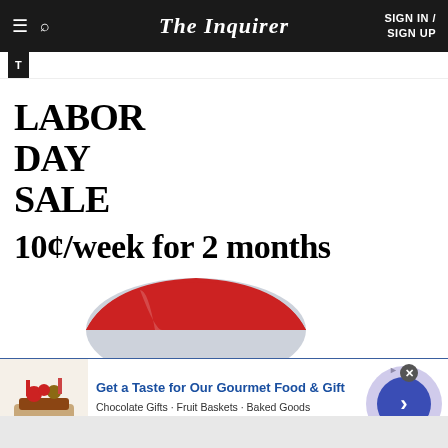The Inquirer | SIGN IN / SIGN UP
LABOR DAY SALE
10¢/week for 2 months
[Figure (illustration): Beach umbrella illustration with red top and gray pole]
[Figure (infographic): Advertisement: Get a Taste for Our Gourmet Food & Gift. Chocolate Gifts - Fruit Baskets - Baked Goods. www.1800flowers.com. Shows gift basket image and blue circle with arrow.]